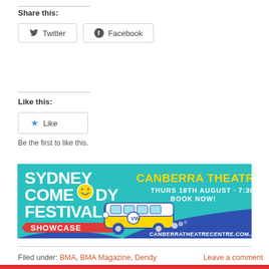Share this:
Twitter   Facebook
Like this:
★ Like
Be the first to like this.
[Figure (illustration): Sydney Comedy Festival Showcase advertisement banner for Canberra Theatre Centre. Turquoise and blue background with a yellow VW campervan. Text: SYDNEY COMEDY FESTIVAL SHOWCASE | CANBERRA THEATRE CENTRE | THURS 18TH AUGUST · 7:30PM | BOOK NOW! | CANBERRATHEATRECENTRE.COM.AU]
Filed under: BMA, BMA Magazine, Dendy     Leave a comment